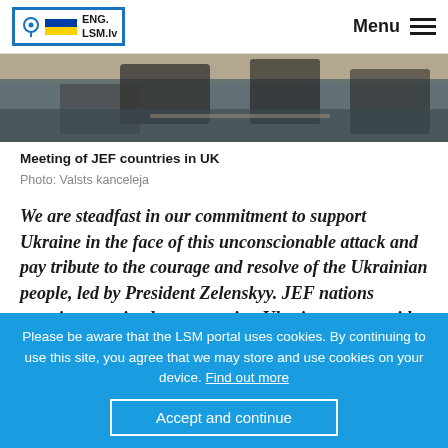ENG.LSM.lv — Menu
[Figure (photo): Photo of people seated at a meeting table, taken from above/behind, blurred background]
Meeting of JEF countries in UK
Photo: Valsts kanceleja
We are steadfast in our commitment to support Ukraine in the face of this unconscionable attack and pay tribute to the courage and resolve of the Ukrainian people, led by President Zelenskyy. JEF nations remain committed to supporting Ukraine at pace with military aid to ensure Ukraine is best able to defend itself.
Please be aware that the LSM portal uses cookies. By continuing to use this site, you agree that we may store and use cookies on your device. Find out more
Accept and continue